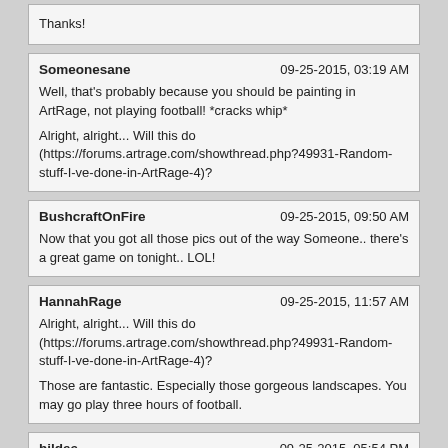Thanks!
Someonesane	09-25-2015, 03:19 AM
Well, that's probably because you should be painting in ArtRage, not playing football! *cracks whip*
Alright, alright... Will this do (https://forums.artrage.com/showthread.php?49931-Random-stuff-I-ve-done-in-ArtRage-4)?
BushcraftOnFire	09-25-2015, 09:50 AM
Now that you got all those pics out of the way Someone.. there's a great game on tonight.. LOL!
HannahRage	09-25-2015, 11:57 AM
Alright, alright... Will this do (https://forums.artrage.com/showthread.php?49931-Random-stuff-I-ve-done-in-ArtRage-4)?
Those are fantastic. Especially those gorgeous landscapes. You may go play three hours of football.
hildee	09-25-2015, 05:54 PM
A simple, straight-to-the-point tutorial. Many thanks!
Someonesane	09-25-2015, 06:02 PM
Now that you got all those pics out of the way Someone.. there's a great game on tonight.. LOL!